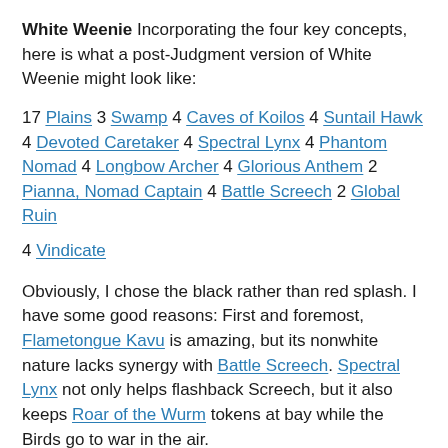White Weenie Incorporating the four key concepts, here is what a post-Judgment version of White Weenie might look like:
17 Plains 3 Swamp 4 Caves of Koilos 4 Suntail Hawk 4 Devoted Caretaker 4 Spectral Lynx 4 Phantom Nomad 4 Longbow Archer 4 Glorious Anthem 2 Pianna, Nomad Captain 4 Battle Screech 2 Global Ruin
4 Vindicate
Obviously, I chose the black rather than red splash. I have some good reasons: First and foremost, Flametongue Kavu is amazing, but its nonwhite nature lacks synergy with Battle Screech. Spectral Lynx not only helps flashback Screech, but it also keeps Roar of the Wurm tokens at bay while the Birds go to war in the air.
Vindicate is the most versatile card in terms of white disruption. It will never be a dead draw, and it teams up